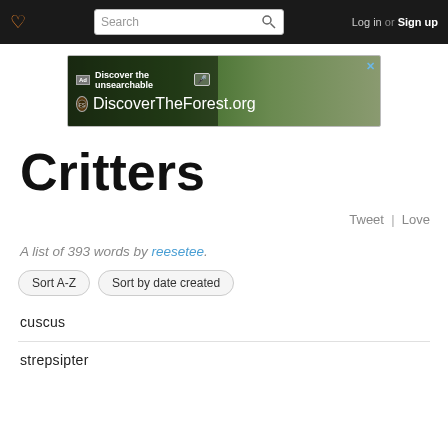♥ [Search bar] Log in or Sign up
[Figure (other): Advertisement banner for DiscoverTheForest.org with text 'Discover the unsearchable' and forest background image]
Critters
Tweet | Love
A list of 393 words by reesetee.
Sort A-Z
Sort by date created
cuscus
strepsipter